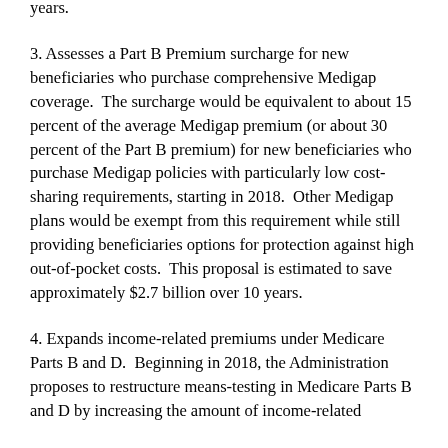estimated to save approximately $828 million over 10 years.
3. Assesses a Part B Premium surcharge for new beneficiaries who purchase comprehensive Medigap coverage.  The surcharge would be equivalent to about 15 percent of the average Medigap premium (or about 30 percent of the Part B premium) for new beneficiaries who purchase Medigap policies with particularly low cost-sharing requirements, starting in 2018.  Other Medigap plans would be exempt from this requirement while still providing beneficiaries options for protection against high out-of-pocket costs.  This proposal is estimated to save approximately $2.7 billion over 10 years.
4. Expands income-related premiums under Medicare Parts B and D.  Beginning in 2018, the Administration proposes to restructure means-testing in Medicare Parts B and D by increasing the amount of income-related